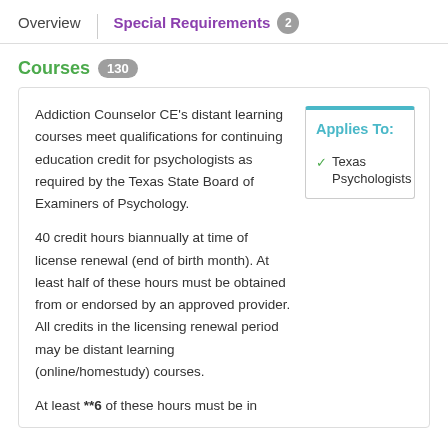Overview | Special Requirements 2
Courses 130
Addiction Counselor CE’s distant learning courses meet qualifications for continuing education credit for psychologists as required by the Texas State Board of Examiners of Psychology.
Applies To: ✓ Texas Psychologists
40 credit hours biannually at time of license renewal (end of birth month). At least half of these hours must be obtained from or endorsed by an approved provider. All credits in the licensing renewal period may be distant learning (online/homestudy) courses.
At least **6 of these hours must be in